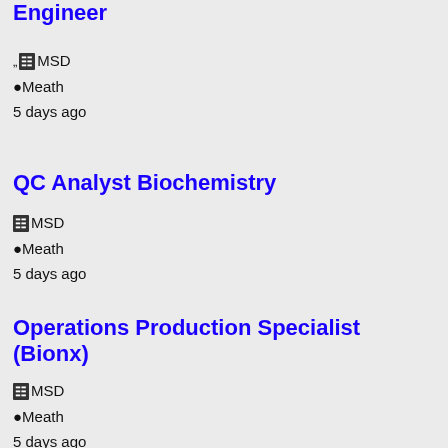Engineer
🏢MSD
📍Meath
5 days ago
QC Analyst Biochemistry
🏢MSD
📍Meath
5 days ago
Operations Production Specialist (Bionx)
🏢MSD
📍Meath
5 days ago